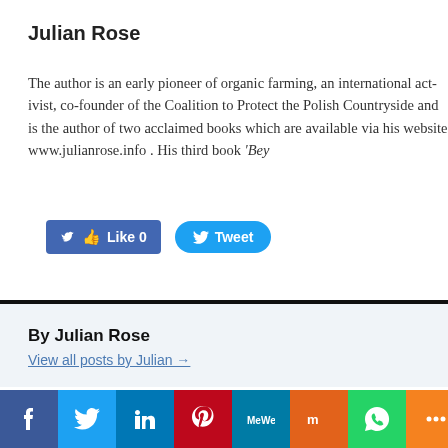Julian Rose
The author is an early pioneer of organic farming, an international activist, co-founder of the Coalition to Protect the Polish Countryside and is the author of two acclaimed books which are available via his website www.julianrose.info . His third book ‘Bey...
[Figure (screenshot): Facebook Like button showing count 0 and Twitter Tweet button]
By Julian Rose
View all posts by Julian →
This entry was posted on 30 May, 2018 in homepage and tagged Israel, Julian Rose, pale...
← The Slums of 1980s Glasgow
[Figure (infographic): Social media sharing icons bar: Facebook, Twitter, LinkedIn, Pinterest, MeWe, Mix, WhatsApp, More]